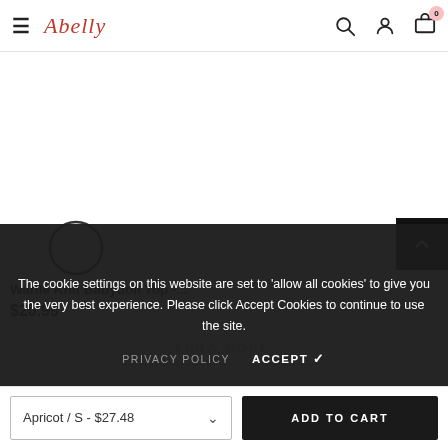Abelly — navigation bar with hamburger menu, logo, search, account, and cart icons
[Figure (other): Circle/color swatch selector for product]
Waffle Knit Babydoll Top -...
$20.99
[Figure (other): Scroll-to-top button (dark square with upward chevron)]
SHOW MORE
The cookie settings on this website are set to 'allow all cookies' to give you the very best experience. Please click Accept Cookies to continue to use the site.
PRIVACY POLICY   ACCEPT ✔
Apricot / S – $27.48   ADD TO CART